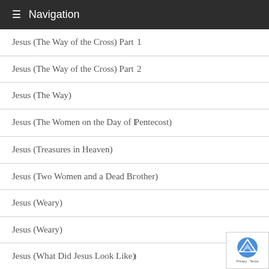Navigation
Jesus (The Way of the Cross) Part 1
Jesus (The Way of the Cross) Part 2
Jesus (The Way)
Jesus (The Women on the Day of Pentecost)
Jesus (Treasures in Heaven)
Jesus (Two Women and a Dead Brother)
Jesus (Weary)
Jesus (Weary)
Jesus (What Did Jesus Look Like)